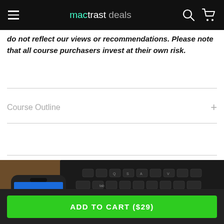mactrast deals
do not reflect our views or recommendations. Please note that all course purchasers invest at their own risk.
Course Outline
[Figure (photo): A smartphone showing a Facebook feed leaning against an open laptop keyboard, placed on a wooden surface]
ADD TO CART ($29)